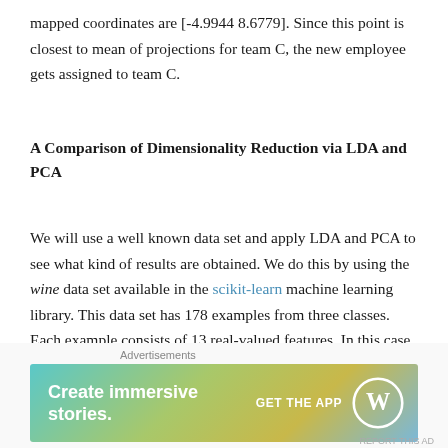mapped coordinates are [-4.9944 8.6779]. Since this point is closest to mean of projections for team C, the new employee gets assigned to team C.
A Comparison of Dimensionality Reduction via LDA and PCA
We will use a well known data set and apply LDA and PCA to see what kind of results are obtained. We do this by using the wine data set available in the scikit-learn machine learning library. This data set has 178 examples from three classes. Each example consists of 13 real-valued features. In this case, we will use the LDA and PCA class from the scikit-learn library.
[Figure (infographic): Advertisement banner: 'Create immersive stories. GET THE APP' with WordPress logo, on a teal-to-yellow gradient background.]